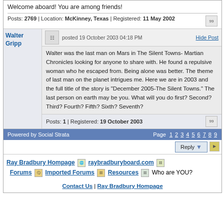Welcome aboard! You are among friends!
Posts: 2769 | Location: McKinney, Texas | Registered: 11 May 2002
Walter Gripp
posted 19 October 2003 04:18 PM
Hide Post
Walter was the last man on Mars in The Silent Towns- Martian Chronicles looking for anyone to share with. He found a repulsive woman who he escaped from. Being alone was better. The theme of last man on the planet intrigues me. Here we are in 2003 and the full title of the story is "December 2005-The Silent Towns." The last person on earth may be you. What will you do first? Second? Third? Fourth? Fifth? Sixth? Seventh?
Posts: 1 | Registered: 19 October 2003
Powered by Social Strata   Page 1 2 3 4 5 6 7 8 9
Reply
Ray Bradbury Hompage   raybradburyboard.com   Forums   Imported Forums   Resources   Who are YOU?
Contact Us | Ray Bradbury Hompage